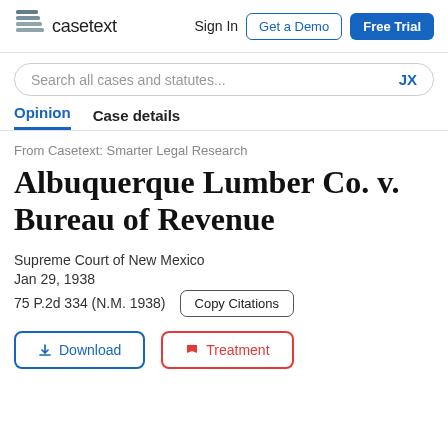casetext | Sign In | Get a Demo | Free Trial
Search all cases and statutes... JX
Opinion   Case details
From Casetext: Smarter Legal Research
Albuquerque Lumber Co. v. Bureau of Revenue
Supreme Court of New Mexico
Jan 29, 1938
75 P.2d 334 (N.M. 1938)
Copy Citations
Download   Treatment